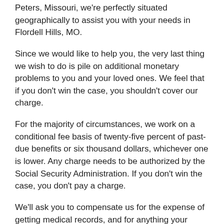Peters, Missouri, we're perfectly situated geographically to assist you with your needs in Flordell Hills, MO.
Since we would like to help you, the very last thing we wish to do is pile on additional monetary problems to you and your loved ones. We feel that if you don't win the case, you shouldn't cover our charge.
For the majority of circumstances, we work on a conditional fee basis of twenty-five percent of past-due benefits or six thousand dollars, whichever one is lower. Any charge needs to be authorized by the Social Security Administration. If you don't win the case, you don't pay a charge.
We'll ask you to compensate us for the expense of getting medical records, and for anything your physician charges for writing reports to allow us to win your claim. Overall costs are typically $100 or less.
If you don't win your case, you won't pay a fee.
Our previous and ongoing success relies on experience, knowledge, and a qualified support staff. Kassin & Carrow